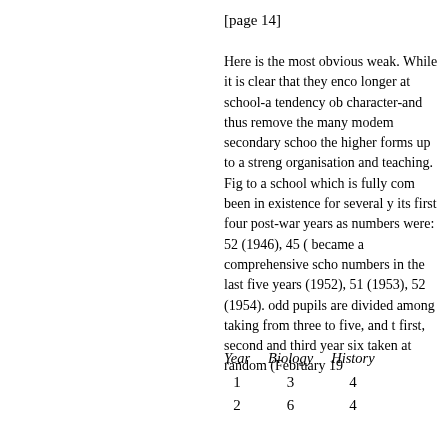[page 14]
Here is the most obvious weak. While it is clear that they enco longer at school-a tendency ob character-and thus remove the many modem secondary schoo the higher forms up to a streng organisation and teaching. Fig to a school which is fully com been in existence for several y its first four post-war years as numbers were: 52 (1946), 45 ( became a comprehensive scho numbers in the last five years (1952), 51 (1953), 52 (1954). odd pupils are divided among taking from three to five, and t first, second and third year six taken at random (February 19
| Year | Biology | History |
| --- | --- | --- |
| 1 | 3 | 4 |
| 2 | 6 | 4 |